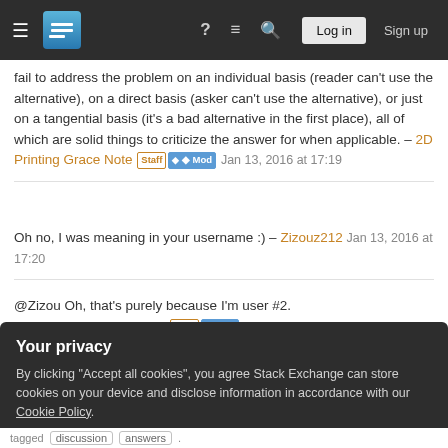Stack Exchange navigation bar with hamburger menu, logo, help, chat, search, Log in, Sign up
fail to address the problem on an individual basis (reader can't use the alternative), on a direct basis (asker can't use the alternative), or just on a tangential basis (it's a bad alternative in the first place), all of which are solid things to criticize the answer for when applicable. – 2D Printing Grace Note Staff ◆ Mod Jan 13, 2016 at 17:19
Oh no, I was meaning in your username :) – Zizouz212 Jan 13, 2016 at 17:20
@Zizou Oh, that's purely because I'm user #2. – 2D Printing Grace Note Staff ◆ Mod Jan 13, 2016 at 21:01
Your privacy
By clicking "Accept all cookies", you agree Stack Exchange can store cookies on your device and disclose information in accordance with our Cookie Policy.
Accept all cookies | Customize settings
tagged discussion answers .